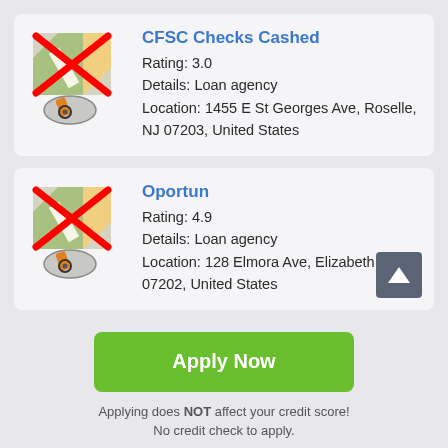[Figure (screenshot): Map icon with red X overlay and pencil/location graphic - CFSC Checks Cashed listing]
CFSC Checks Cashed
Rating: 3.0
Details: Loan agency
Location: 1455 E St Georges Ave, Roselle, NJ 07203, United States
[Figure (screenshot): Map icon with red X overlay and pencil/location graphic - Oportun listing]
Oportun
Rating: 4.9
Details: Loan agency
Location: 128 Elmora Ave, Elizabeth, NJ 07202, United States
Apply Now
Applying does NOT affect your credit score!
No credit check to apply.